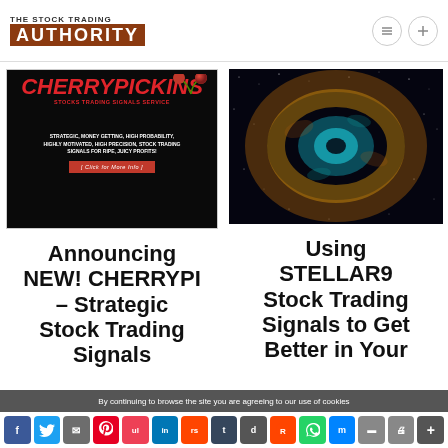THE STOCK TRADING AUTHORITY
[Figure (infographic): CherryPickins Stocks Trading Signals Service advertisement banner with red text on dark background and cherry graphic]
[Figure (photo): Nebula / space photograph showing a colorful cosmic nebula against a dark starry background]
Announcing NEW! CHERRYPI – Strategic Stock Trading Signals Service  for
Using STELLAR9 Stock Trading Signals to Get Better in Your
By continuing to browse the site you are agreeing to our use of cookies